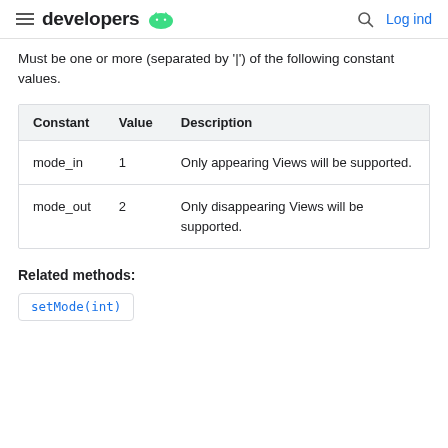developers  Log ind
Must be one or more (separated by '|') of the following constant values.
| Constant | Value | Description |
| --- | --- | --- |
| mode_in | 1 | Only appearing Views will be supported. |
| mode_out | 2 | Only disappearing Views will be supported. |
Related methods:
setMode(int)